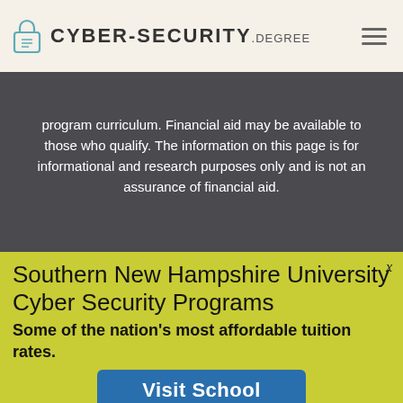CYBER-SECURITY.degree
program curriculum. Financial aid may be available to those who qualify. The information on this page is for informational and research purposes only and is not an assurance of financial aid.
Southern New Hampshire University Cyber Security Programs
Some of the nation's most affordable tuition rates.
Visit School
Sponsored Results